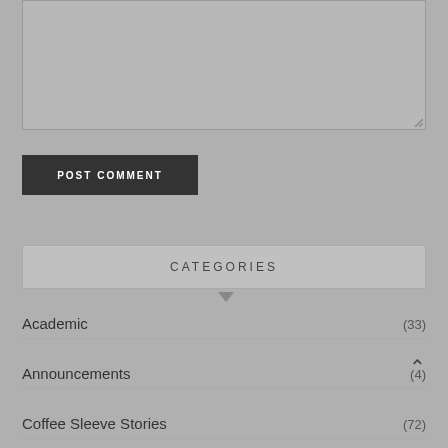[Figure (screenshot): Textarea input box with resize handle in bottom-right corner, light gray background]
POST COMMENT
CATEGORIES
Academic (33)
Announcements (4)
Coffee Sleeve Stories (72)